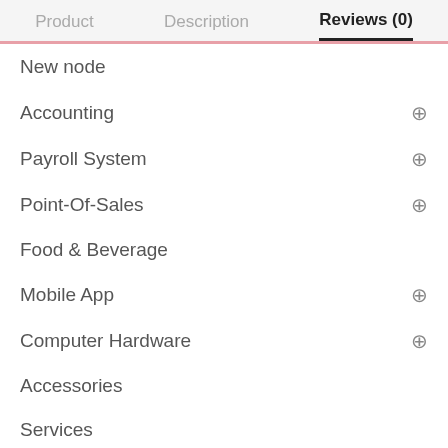Product   Description   Reviews (0)
New node
Accounting
Payroll System
Point-Of-Sales
Food & Beverage
Mobile App
Computer Hardware
Accessories
Services
Shop By Price
BUY NOW   ADD TO CART